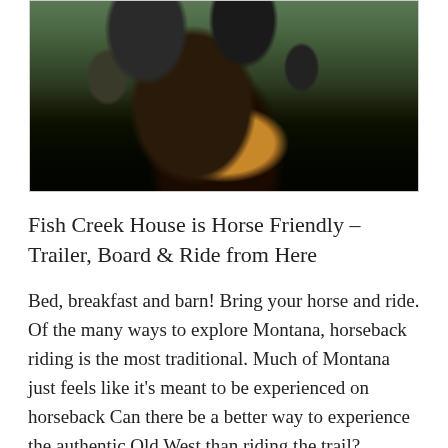[Figure (photo): View from horseback on a trail, looking over the horse's dark mane/head toward other horses walking ahead on a dirt path surrounded by green vegetation and trees.]
Fish Creek House is Horse Friendly – Trailer, Board & Ride from Here
Bed, breakfast and barn! Bring your horse and ride. Of the many ways to explore Montana, horseback riding is the most traditional. Much of Montana just feels like it's meant to be experienced on horseback Can there be a better way to experience the authentic Old West than riding the trail?